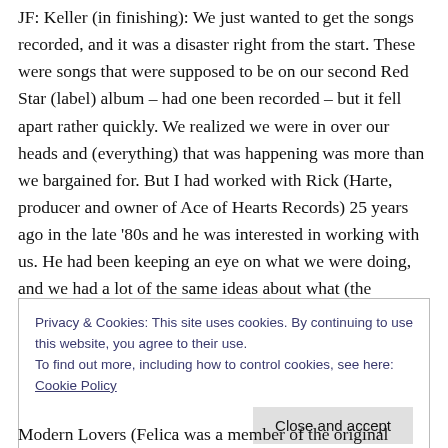JF: Keller (in finishing): We just wanted to get the songs recorded, and it was a disaster right from the start. These were songs that were supposed to be on our second Red Star (label) album – had one been recorded – but it fell apart rather quickly. We realized we were in over our heads and (everything) that was happening was more than we bargained for. But I had worked with Rick (Harte, producer and owner of Ace of Hearts Records) 25 years ago in the late '80s and he was interested in working with us. He had been keeping an eye on what we were doing, and we had a lot of the same ideas about what (the
Privacy & Cookies: This site uses cookies. By continuing to use this website, you agree to their use.
To find out more, including how to control cookies, see here: Cookie Policy
Close and accept
Modern Lovers (Felica was a member of the original